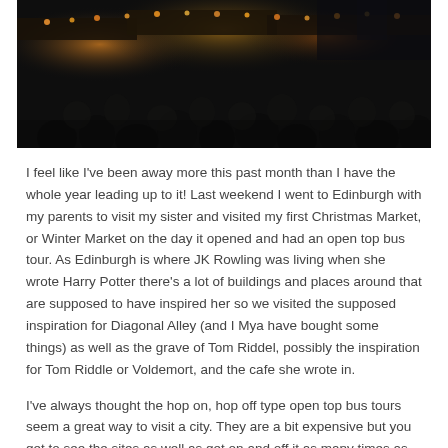[Figure (photo): Dark photograph of a crowded Christmas/Winter Market at night, with warm glowing lights from market stalls and people in the crowd.]
I feel like I've been away more this past month than I have the whole year leading up to it! Last weekend I went to Edinburgh with my parents to visit my sister and visited my first Christmas Market, or Winter Market on the day it opened and had an open top bus tour. As Edinburgh is where JK Rowling was living when she wrote Harry Potter there's a lot of buildings and places around that are supposed to have inspired her so we visited the supposed inspiration for Diagonal Alley (and I Mya have bought some things) as well as the grave of Tom Riddel, possibly the inspiration for Tom Riddle or Voldemort, and the cafe she wrote in.
I've always thought the hop on, hop off type open top bus tours seem a great way to visit a city. They are a bit expensive but you get to see the sites as well as get on and off it as many times as you want in 24 hours with a tour guide or recorded guide. It's definitely